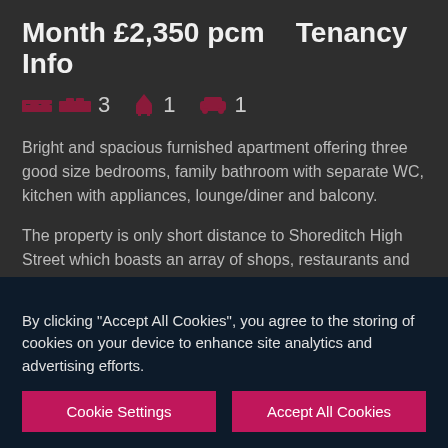Month £2,350 pcm    Tenancy Info
Bright and spacious furnished apartment offering three good size bedrooms, family bathroom with separate WC, kitchen with appliances, lounge/diner and balcony.
The property is only short distance to Shoreditch High Street which boasts an array of shops, restaurants and eateries.
The area is also bordered by The City, Liverpool street is just a 15 minute walk. Spitalfields, Clerkenwell, Bloomsbury and Covent Garden are only a short distance away.
By clicking "Accept All Cookies", you agree to the storing of cookies on your device to enhance site analytics and advertising efforts.